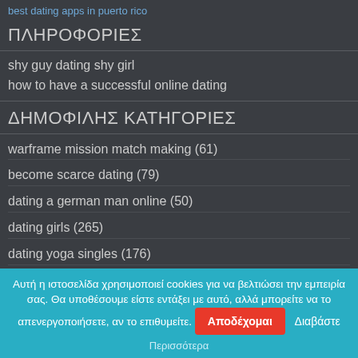best dating apps in puerto rico
ΠΛΗΡΟΦΟΡΙΕΣ
shy guy dating shy girl
how to have a successful online dating
ΔΗΜΟΦΙΛΗΣ ΚΑΤΗΓΟΡΙΕΣ
warframe mission match making (61)
become scarce dating (79)
dating a german man online (50)
dating girls (265)
dating yoga singles (176)
Αυτή η ιστοσελίδα χρησιμοποιεί cookies για να βελτιώσει την εμπειρία σας. Θα υποθέσουμε είστε εντάξει με αυτό, αλλά μπορείτε να το απενεργοποιήσετε, αν το επιθυμείτε. Αποδέχομαι Διαβάστε Περισσότερα